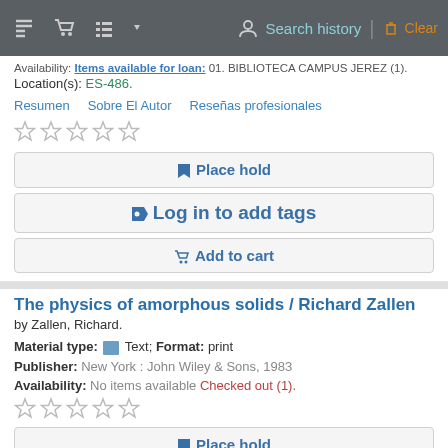Search history | Clear
Availability: Items available for loan: 01. BIBLIOTECA CAMPUS JEREZ (1).
Location(s): ES-486.
Resumen   Sobre El Autor   Reseñas profesionales
☆ ☆ ☆ ☆ ☆
Place hold
Log in to add tags
Add to cart
The physics of amorphous solids / Richard Zallen
by Zallen, Richard.
Material type: Text; Format: print
Publisher: New York : John Wiley & Sons, 1983
Availability: No items available Checked out (1).
☆ ☆ ☆ ☆ ☆
Place hold